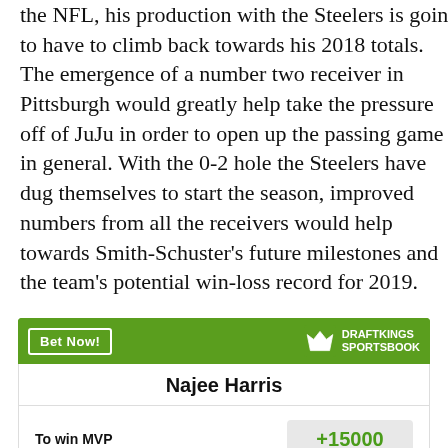the NFL, his production with the Steelers is going to have to climb back towards his 2018 totals. The emergence of a number two receiver in Pittsburgh would greatly help take the pressure off of JuJu in order to open up the passing game in general. With the 0-2 hole the Steelers have dug themselves to start the season, improved numbers from all the receivers would help towards Smith-Schuster's future milestones and the team's potential win-loss record for 2019.
[Figure (other): DraftKings Sportsbook betting widget for Najee Harris showing odds: To win MVP +15000, To win Offensive Player of the Year +6000]